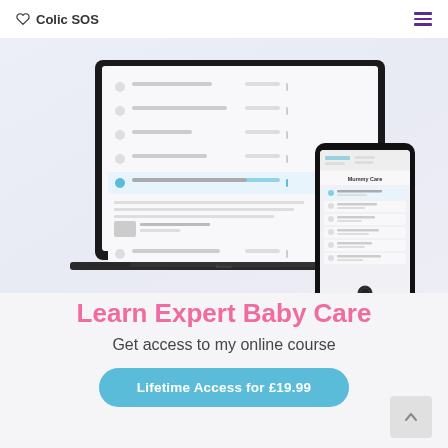Colic SOS
[Figure (screenshot): Screenshot of an online course platform showing a laptop and mobile phone displaying the Colic SOS course content interface with lesson list items.]
Learn Expert Baby Care
Get access to my online course
Lifetime Access for £19.99